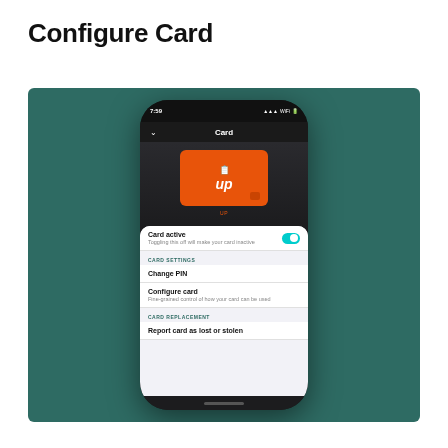Configure Card
[Figure (screenshot): Mobile app screenshot on a teal/dark green background showing an Up banking app screen titled 'Card'. The phone displays an orange Up card with the 'up' logo. Below the card are settings: 'Card active' toggle (enabled/blue), a CARD SETTINGS section with 'Change PIN' and 'Configure card' options, and a CARD REPLACEMENT section with 'Report card as lost or stolen' option.]